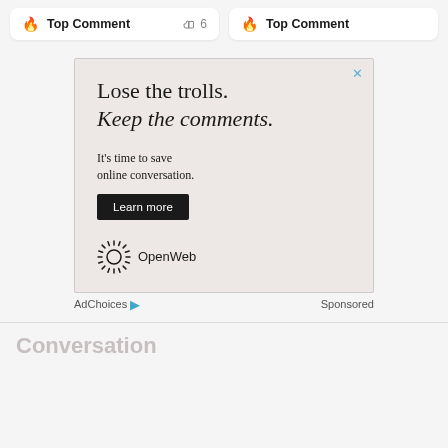🔥 Top Comment  👍 6
🔥 Top Comment
[Figure (screenshot): Advertisement for OpenWeb. Headline: 'Lose the trolls. Keep the comments.' Subtext: 'It's time to save online conversation.' Button: 'Learn more'. Logo: OpenWeb. Close button (×) in top right corner.]
AdChoices ▷   Sponsored
Conversation